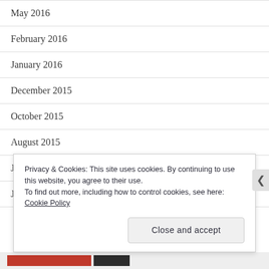May 2016
February 2016
January 2016
December 2015
October 2015
August 2015
July 2015
June 2015
Privacy & Cookies: This site uses cookies. By continuing to use this website, you agree to their use.
To find out more, including how to control cookies, see here:
Cookie Policy
Close and accept